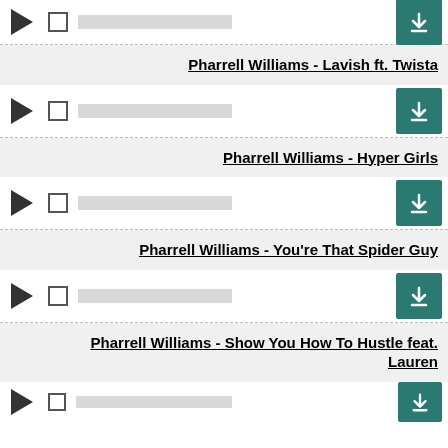[Figure (screenshot): Music player controls row with play button, checkbox, progress bar, and download button (partially visible at top)]
Pharrell Williams - Lavish ft. Twista
[Figure (screenshot): Music player controls row with play button, checkbox, progress bar, and download button]
Pharrell Williams - Hyper Girls
[Figure (screenshot): Music player controls row with play button, checkbox, progress bar, and download button]
Pharrell Williams - You're That Spider Guy
[Figure (screenshot): Music player controls row with play button, checkbox, progress bar, and download button]
Pharrell Williams - Show You How To Hustle feat. Lauren
[Figure (screenshot): Music player controls row with play button, checkbox, progress bar, and download button (partially visible at bottom)]